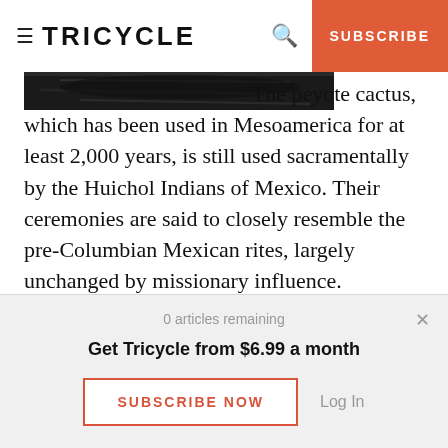TRICYCLE | SUBSCRIBE
[Figure (photo): Partial view of a dark/black and white photo of a peyote cactus, cropped at top of article]
The peyote cactus, which has been used in Mesoamerica for at least 2,000 years, is still used sacramentally by the Huichol Indians of Mexico. Their ceremonies are said to closely resemble the pre-Columbian Mexican rites, largely unchanged by missionary influence.

The peyote practices of Mexico began diffusing
0 articles remaining
Get Tricycle from $6.99 a month
SUBSCRIBE NOW
Log In